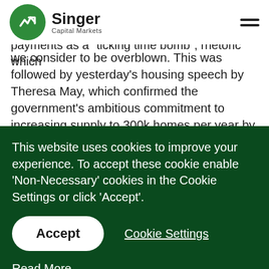Singer Capital Markets
The weekend saw a flurry of press articles about the onset of Help to Buy interest payments as a "ticking time bomb", rhetoric which we consider to be overblown. This was followed by yesterday's housing speech by Theresa May, which confirmed the government's ambitious commitment to increasing supply to 300k homes per year by overhauling the national planning
This website uses cookies to improve your experience. To accept these cookie enable 'Non-Necessary' cookies in the Cookie Settings or click 'Accept'.
Accept
Cookie Settings
Read More